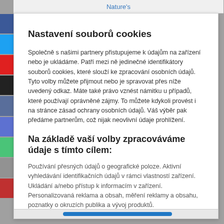Nature's
Nastavení souborů cookies
Společně s našimi partnery přistupujeme k údajům na zařízení nebo je ukládáme. Patří mezi ně jedinečné identifikátory souborů cookies, které slouží ke zpracování osobních údajů. Tyto volby můžete přijmout nebo je spravovat přes níže uvedený odkaz. Máte také právo vznést námitku u případů, které používají oprávněné zájmy. To můžete kdykoli provést i na stránce zásad ochrany osobních údajů. Váš výběr pak předáme partnerům, což nijak neovlivní údaje prohlížení.
Na základě vaší volby zpracováváme údaje s tímto cílem:
Používání přesných údajů o geografické poloze. Aktivní vyhledávání identifikačních údajů v rámci vlastností zařízení. Ukládání a/nebo přístup k informacím v zařízení. Personalizovaná reklama a obsah, měření reklamy a obsahu, poznatky o okruzích publika a vývoj produktů.
Seznam partnerů (dodavatelů)